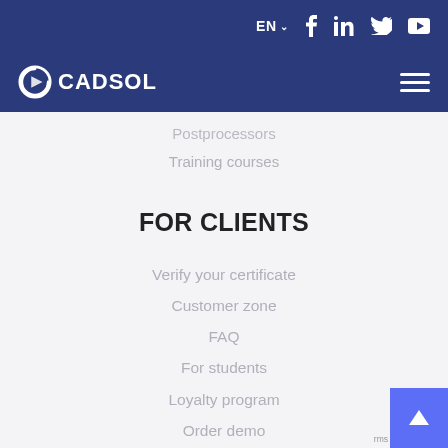EN  f  in  Twitter  YouTube
[Figure (logo): CADSOL logo with play-button icon on dark blue navigation bar with hamburger menu]
Postprocessors
Training courses
FOR CLIENTS
Verify your certificate
Customer zone
FAQ
For students
Loyalty program
Order demo